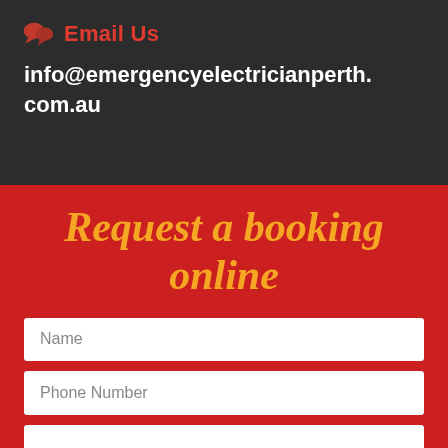Email Us
info@emergencyelectricianperth.com.au
Request a booking online
Name
Phone Number